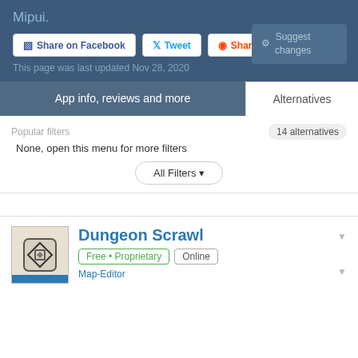Mipui.
Share on Facebook
Tweet
Share on Reddit
Suggest changes
This page was last updated Nov 28, 2020
App info, reviews and more
Alternatives
Popular filters
14 alternatives
None, open this menu for more filters
All Filters ▼
Dungeon Scrawl
Free • Proprietary  Online
Map-Editor